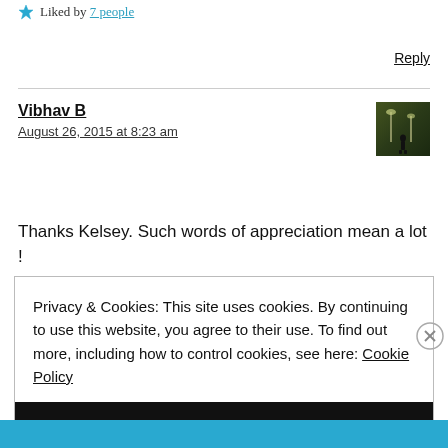Liked by 7 people
Reply
Vibhav B
August 26, 2015 at 8:23 am
[Figure (photo): Small avatar photo showing a silhouette figure near street lamps with a dark greenish toned background]
Thanks Kelsey. Such words of appreciation mean a lot !
Privacy & Cookies: This site uses cookies. By continuing to use this website, you agree to their use. To find out more, including how to control cookies, see here: Cookie Policy
Close and accept